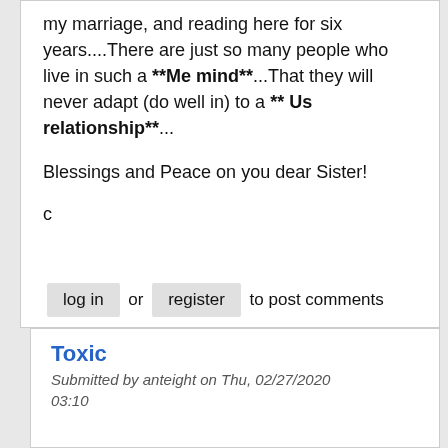my marriage, and reading here for six years....There are just so many people who live in such a **Me mind**...That they will never adapt (do well in) to a ** Us relationship**...
Blessings and Peace on you dear Sister!
c
log in or register to post comments
Toxic
Submitted by anteight on Thu, 02/27/2020
03:10